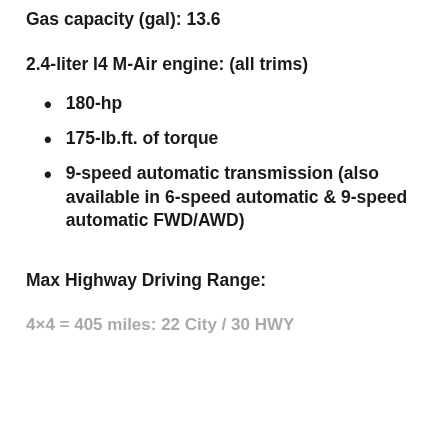Gas capacity (gal): 13.6
2.4-liter I4 M-Air engine: (all trims)
180-hp
175-lb.ft. of torque
9-speed automatic transmission (also available in 6-speed automatic & 9-speed automatic FWD/AWD)
Max Highway Driving Range:
4×4 = 405 miles: 22 City / 30 HWY